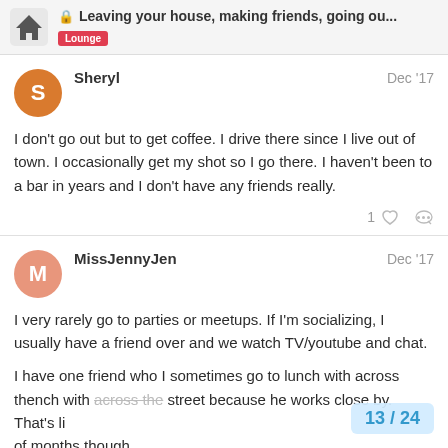Leaving your house, making friends, going ou... | Lounge
Sheryl Dec '17
I don't go out but to get coffee. I drive there since I live out of town. I occasionally get my shot so I go there. I haven't been to a bar in years and I don't have any friends really.
MissJennyJen Dec '17
I very rarely go to parties or meetups. If I'm socializing, I usually have a friend over and we watch TV/youtube and chat.
I have one friend who I sometimes go to lunch with across the street because he works close by. That's li... of months though.
13 / 24